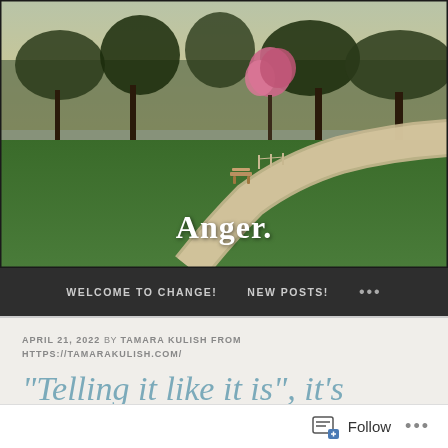[Figure (photo): Park scene with winding path, pond, green grass, bare trees, and one pink flowering tree in spring]
Anger.
WELCOME TO CHANGE!   NEW POSTS!   ...
APRIL 21, 2022 BY TAMARA KULISH FROM HTTPS://TAMARAKULISH.COM/
“Telling it like it is”, it’s
Follow ...